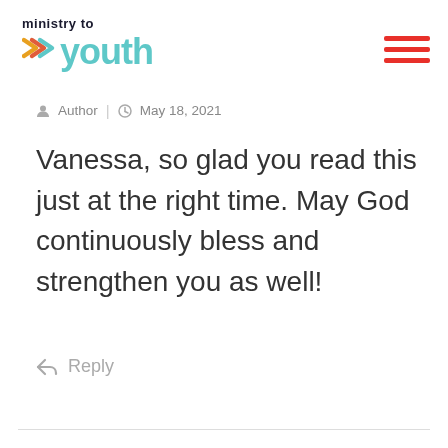[Figure (logo): Ministry to Youth logo with teal chevrons and teal 'youth' text, black 'ministry to' text above]
[Figure (other): Hamburger menu icon: three horizontal red lines]
Author  |  May 18, 2021
Vanessa, so glad you read this just at the right time. May God continuously bless and strengthen you as well!
Reply